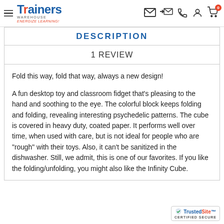Trainers Warehouse — ENERGIZE LEARNING
DESCRIPTION
1 REVIEW
Fold this way, fold that way, always a new design!

A fun desktop toy and classroom fidget that's pleasing to the hand and soothing to the eye. The colorful block keeps folding and folding, revealing interesting psychedelic patterns. The cube is covered in heavy duty, coated paper. It performs well over time, when used with care, but is not ideal for people who are "rough" with their toys. Also, it can't be sanitized in the dishwasher. Still, we admit, this is one of our favorites. If you like the folding/unfolding, you might also like the Infinity Cube.